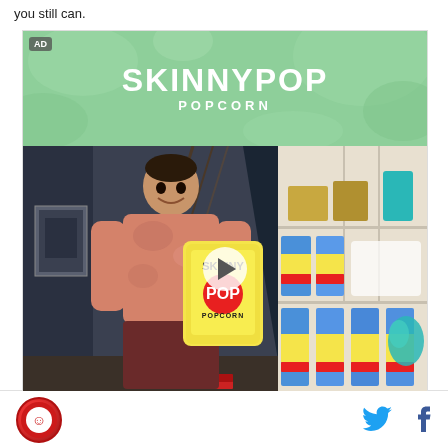you still can.
[Figure (screenshot): SkinnyPop Popcorn advertisement banner with green header showing brand logo, and a video thumbnail showing a man holding a SkinnyPop popcorn bag next to shelves stocked with popcorn bags, with a play button overlay. AD badge in top-left corner.]
Social sharing icons: Twitter and Facebook. Logo icon on left.